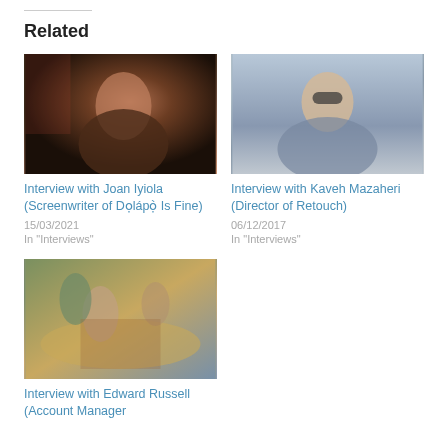Related
[Figure (photo): Portrait of a Black woman with long hair, looking upward, in a dimly lit room]
Interview with Joan Iyiola (Screenwriter of Dọlápọ̀ Is Fine)
15/03/2021
In "Interviews"
[Figure (photo): Portrait of a man with sunglasses outdoors, a body of water in the background]
Interview with Kaveh Mazaheri (Director of Retouch)
06/12/2017
In "Interviews"
[Figure (photo): Three people on a beach or sandy area, one person crouching and being helped by two others]
Interview with Edward Russell (Account Manager